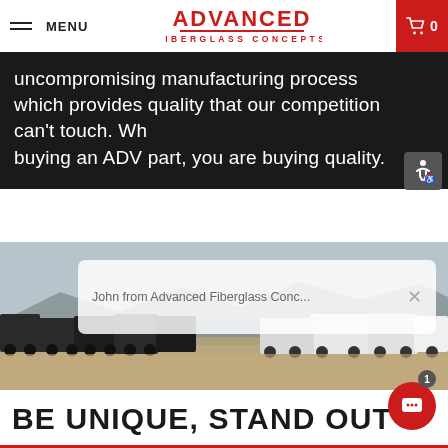MENU | ADVANCED FIBERGLASS CONCEPTS | 0
uncompromising manufacturing process which provides quality that our competition can't touch. When buying an ADV part, you are buying quality.
[Figure (photo): A lineup of modified off-road trucks and SUVs parked in a desert landscape with mountains in the background. A chat notification popup is overlaid reading 'John from Advanced Fiberglass Conc...']
BE UNIQUE, STAND OUT